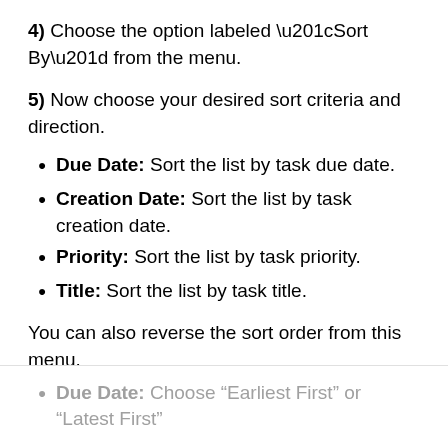4) Choose the option labeled “Sort By” from the menu.
5) Now choose your desired sort criteria and direction.
Due Date: Sort the list by task due date.
Creation Date: Sort the list by task creation date.
Priority: Sort the list by task priority.
Title: Sort the list by task title.
You can also reverse the sort order from this menu.
Due Date: Choose “Earliest First” or “Latest First”